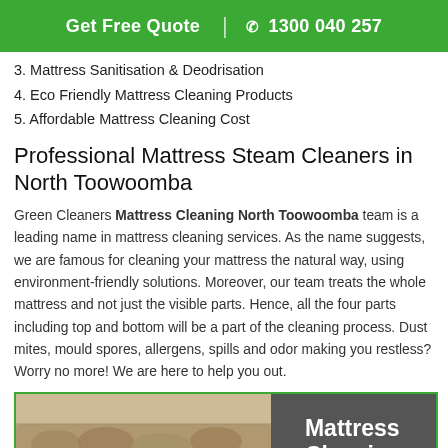Get Free Quote | 1300 040 257
3. Mattress Sanitisation & Deodrisation
4. Eco Friendly Mattress Cleaning Products
5. Affordable Mattress Cleaning Cost
Professional Mattress Steam Cleaners in North Toowoomba
Green Cleaners Mattress Cleaning North Toowoomba team is a leading name in mattress cleaning services. As the name suggests, we are famous for cleaning your mattress the natural way, using environment-friendly solutions. Moreover, our team treats the whole mattress and not just the visible parts. Hence, all the four parts including top and bottom will be a part of the cleaning process. Dust mites, mould spores, allergens, spills and odor making you restless? Worry no more! We are here to help you out.
[Figure (photo): Photo of a mattress on the left side, and dark grey panel on the right with white bold text reading 'Mattress Cleaning']